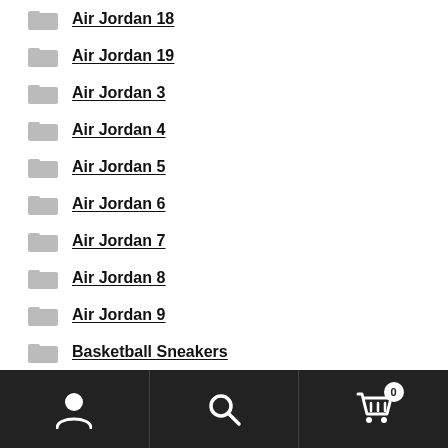Air Jordan 18
Air Jordan 19
Air Jordan 3
Air Jordan 4
Air Jordan 5
Air Jordan 6
Air Jordan 7
Air Jordan 8
Air Jordan 9
Basketball Sneakers
Converse
Navigation bar with user, search, and cart (0) icons